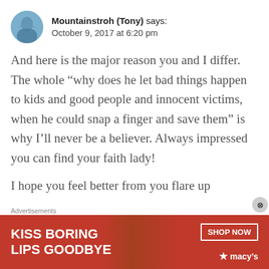Mountainstroh (Tony) says: October 9, 2017 at 6:20 pm
And here is the major reason you and I differ. The whole “why does he let bad things happen to kids and good people and innocent victims, when he could snap a finger and save them” is why I’ll never be a believer. Always impressed you can find your faith lady!
I hope you feel better from you flare up
[Figure (illustration): Advertisement banner for Macy's lipstick: 'KISS BORING LIPS GOODBYE' with SHOP NOW button and Macy's star logo]
Advertisements